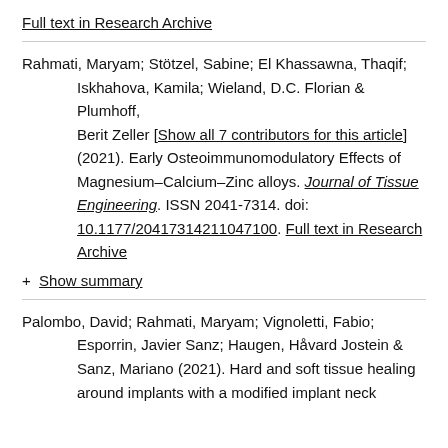Full text in Research Archive
Rahmati, Maryam; Stötzel, Sabine; El Khassawna, Thaqif; Iskhahova, Kamila; Wieland, D.C. Florian & Plumhoff, Berit Zeller [Show all 7 contributors for this article] (2021). Early Osteoimmunomodulatory Effects of Magnesium–Calcium–Zinc alloys. Journal of Tissue Engineering. ISSN 2041-7314. doi: 10.1177/20417314211047100. Full text in Research Archive
+ Show summary
Palombo, David; Rahmati, Maryam; Vignoletti, Fabio; Esporrin, Javier Sanz; Haugen, Håvard Jostein & Sanz, Mariano (2021). Hard and soft tissue healing around implants with a modified implant neck